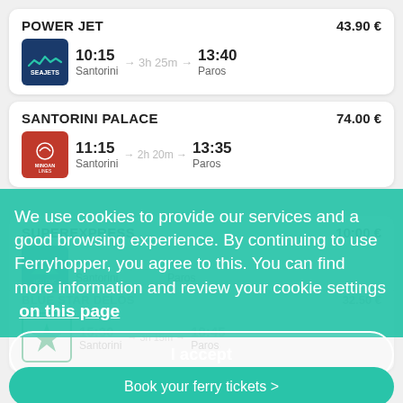POWER JET — 43.90 €
10:15 → 3h 25m → 13:40
Santorini → Paros
SANTORINI PALACE — 74.00 €
11:15 → 2h 20m → 13:35
Santorini → Paros
SUPEREXPRESS — 10:00 €
Santorini → Paros
BLUE STAR DELOS — 32.50 €
15:30 → 3h 15m → 18:45
Santorini → Paros
We use cookies to provide our services and a good browsing experience. By continuing to use Ferryhopper, you agree to this. You can find more information and review your cookie settings on this page
I accept
Book your ferry tickets >